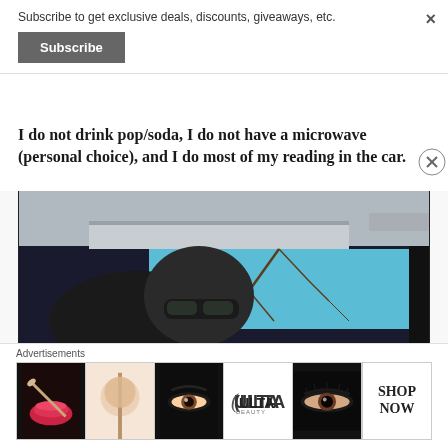Subscribe to get exclusive deals, discounts, giveaways, etc.
Subscribe
I do not drink pop/soda, I do not have a microwave (personal choice), and I do most of my reading in the car.
[Figure (photo): Selfie photo of a person wearing sunglasses taken inside a car, with a blue sky and tree branches visible through the car window]
Advertisements
[Figure (photo): Ulta Beauty advertisement strip showing makeup and eye products with Shop Now button]